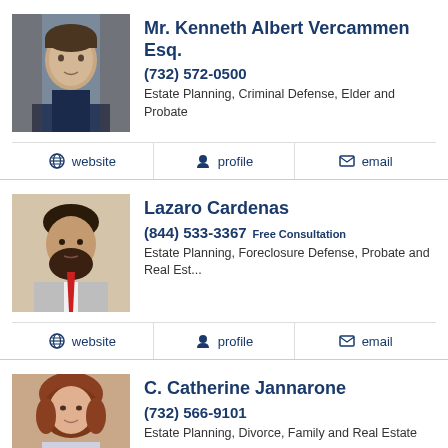[Figure (photo): Headshot of Mr. Kenneth Albert Vercammen Esq., male attorney in suit]
Mr. Kenneth Albert Vercammen Esq.
(732) 572-0500
Estate Planning, Criminal Defense, Elder and Probate
website
profile
email
[Figure (photo): Headshot of Lazaro Cardenas, male attorney with beard and red tie]
Lazaro Cardenas
(844) 533-3367 Free Consultation
Estate Planning, Foreclosure Defense, Probate and Real Est...
website
profile
email
[Figure (photo): Headshot of C. Catherine Jannarone, female attorney with auburn hair]
C. Catherine Jannarone
(732) 566-9101
Estate Planning, Divorce, Family and Real Estate